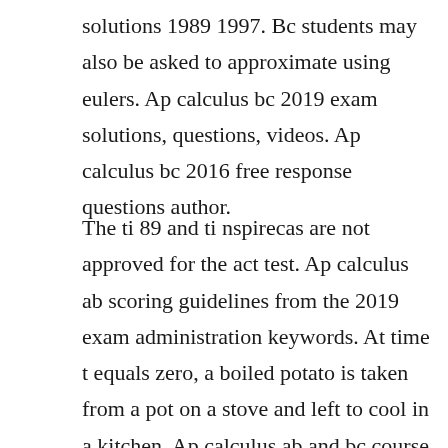solutions 1989 1997. Bc students may also be asked to approximate using eulers. Ap calculus bc 2019 exam solutions, questions, videos. Ap calculus bc 2016 free response questions author.
The ti 89 and ti nspirecas are not approved for the act test. Ap calculus ab scoring guidelines from the 2019 exam administration keywords. At time t equals zero, a boiled potato is taken from a pot on a stove and left to cool in a kitchen. Ap calculus ab and bc course and exam description v. An answer without an